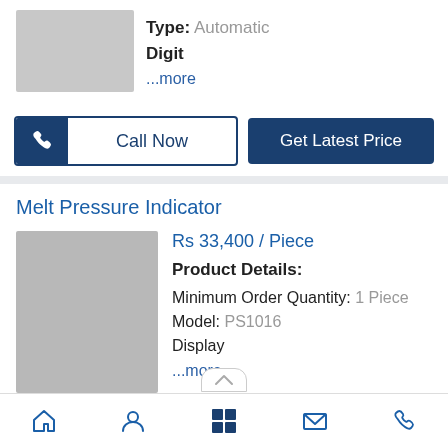Type: Automatic Digit
...more
Call Now
Get Latest Price
Melt Pressure Indicator
Rs 33,400 / Piece
Product Details:
Minimum Order Quantity: 1 Piece
Model: PS1016
Display
...more